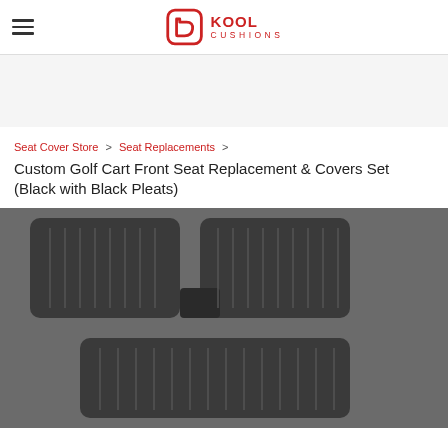Kool Cushions
Seat Cover Store > Seat Replacements > Custom Golf Cart Front Seat Replacement & Covers Set (Black with Black Pleats)
Custom Golf Cart Front Seat Replacement & Covers Set (Black with Black Pleats)
[Figure (photo): Black vinyl golf cart front seat replacement with pleated design, shown from above — seat back on top and seat cushion on bottom, both with horizontal pleats on a gray background.]